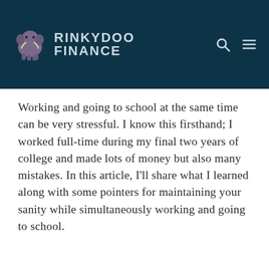RINKYDOO FINANCE
Working and going to school at the same time can be very stressful. I know this firsthand; I worked full-time during my final two years of college and made lots of money but also many mistakes. In this article, I'll share what I learned along with some pointers for maintaining your sanity while simultaneously working and going to school.